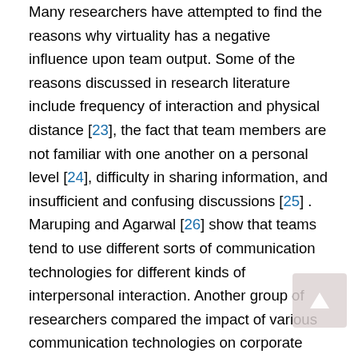Many researchers have attempted to find the reasons why virtuality has a negative influence upon team output. Some of the reasons discussed in research literature include frequency of interaction and physical distance [23], the fact that team members are not familiar with one another on a personal level [24], difficulty in sharing information, and insufficient and confusing discussions [25] . Maruping and Agarwal [26] show that teams tend to use different sorts of communication technologies for different kinds of interpersonal interaction. Another group of researchers compared the impact of various communication technologies on corporate teams, assuming that some technologies limit information transference [27] . The comparisons concluded that FTF teams are more efficient than teams that use video communication [28], and that video communication is more efficient than audio communication [29] . Moreover, the addition of text alongside video or audio communication improves performance [30], and satisfaction [31]...